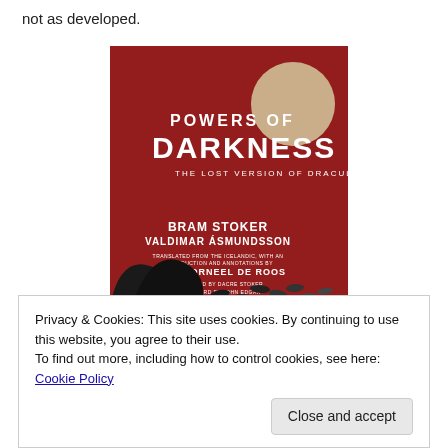not as developed.
[Figure (illustration): Book cover of 'Powers of Darkness: The Lost Version of Dracula' by Bram Stoker and Valdimar Ásmundsson, translated with introduction and annotations by Hans Corneel de Roos. Foreword by Dacre Stoker, afterword by John Edgar Browning. Dark red background with a large beige moon circle in upper right, silhouetted bats and a caped figure in lower portion.]
Privacy & Cookies: This site uses cookies. By continuing to use this website, you agree to their use.
To find out more, including how to control cookies, see here: Cookie Policy
reveals many surprising changes